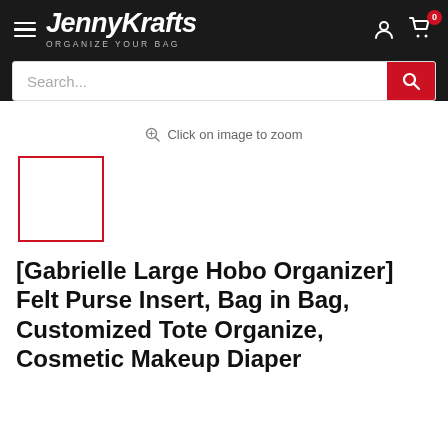JennyKrafts ORGANIZE YOUR BAG
Search...
Click on image to zoom
[Figure (photo): Small white thumbnail image placeholder with red border]
[Gabrielle Large Hobo Organizer] Felt Purse Insert, Bag in Bag, Customized Tote Organize, Cosmetic Makeup Diaper